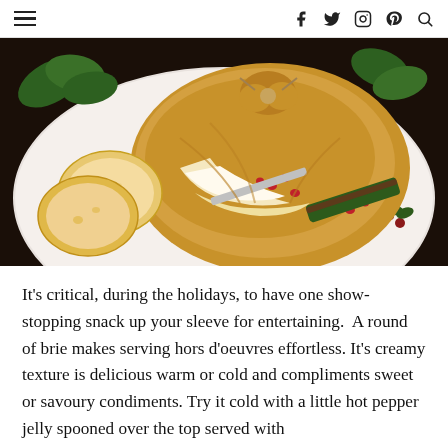≡  f  twitter  instagram  pinterest  search
[Figure (photo): A baked brie wrapped in puff pastry tied with twine, cut open revealing melted cheese with pomegranate seeds, served on a white Christmas plate with sliced baguette rounds and a holiday-decorated knife.]
It's critical, during the holidays, to have one show-stopping snack up your sleeve for entertaining.  A round of brie makes serving hors d'oeuvres effortless. It's creamy texture is delicious warm or cold and compliments sweet or savoury condiments. Try it cold with a little hot pepper jelly spooned over the top served with